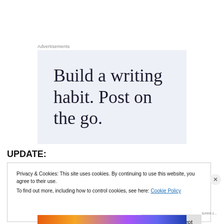Advertisements
[Figure (illustration): Advertisement banner with light blue-grey background displaying the text 'Build a writing habit. Post on the go.' in large serif font]
UPDATE:
Privacy & Cookies: This site uses cookies. By continuing to use this website, you agree to their use.
To find out more, including how to control cookies, see here: Cookie Policy
Close and accept